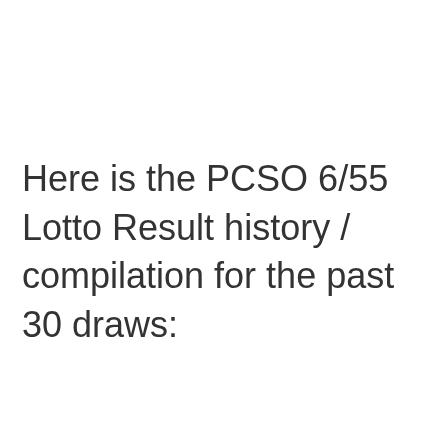Here is the PCSO 6/55 Lotto Result history / compilation for the past 30 draws: